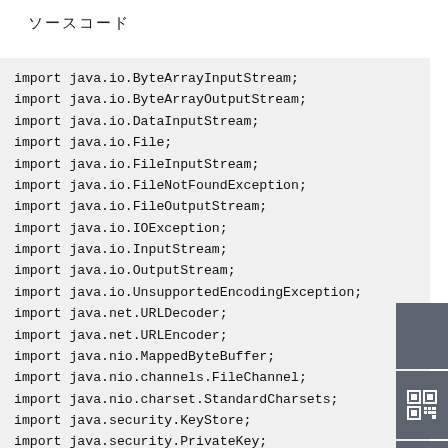ソースコード
import java.io.ByteArrayInputStream;
import java.io.ByteArrayOutputStream;
import java.io.DataInputStream;
import java.io.File;
import java.io.FileInputStream;
import java.io.FileNotFoundException;
import java.io.FileOutputStream;
import java.io.IOException;
import java.io.InputStream;
import java.io.OutputStream;
import java.io.UnsupportedEncodingException;
import java.net.URLDecoder;
import java.net.URLEncoder;
import java.nio.MappedByteBuffer;
import java.nio.channels.FileChannel;
import java.nio.charset.StandardCharsets;
import java.security.KeyStore;
import java.security.PrivateKey;
import java.security.PublicKey;
import java.security.Security;